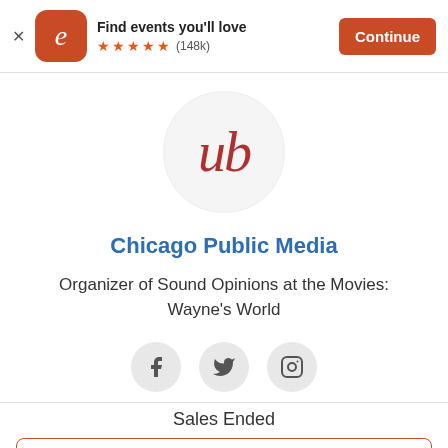[Figure (screenshot): Eventbrite app banner with orange app icon showing 'e' logo, text 'Find events you'll love', 5 orange stars rating, (148k) reviews, and an orange 'Continue' button]
[Figure (logo): Chicago Public Media logo: circular grey background with serif italic 'ub' text in dark red]
Chicago Public Media
Organizer of Sound Opinions at the Movies: Wayne's World
[Figure (infographic): Three circular social media icon buttons: Facebook, Twitter/X, and Instagram]
Sales Ended
Details